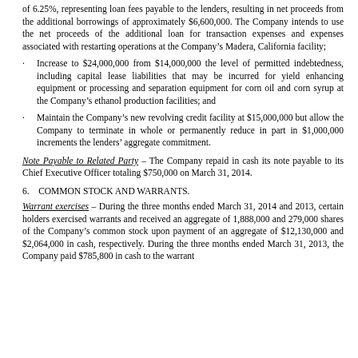of 6.25%, representing loan fees payable to the lenders, resulting in net proceeds from the additional borrowings of approximately $6,600,000. The Company intends to use the net proceeds of the additional loan for transaction expenses and expenses associated with restarting operations at the Company's Madera, California facility;
Increase to $24,000,000 from $14,000,000 the level of permitted indebtedness, including capital lease liabilities that may be incurred for yield enhancing equipment or processing and separation equipment for corn oil and corn syrup at the Company's ethanol production facilities; and
Maintain the Company's new revolving credit facility at $15,000,000 but allow the Company to terminate in whole or permanently reduce in part in $1,000,000 increments the lenders' aggregate commitment.
Note Payable to Related Party – The Company repaid in cash its note payable to its Chief Executive Officer totaling $750,000 on March 31, 2014.
6.    COMMON STOCK AND WARRANTS.
Warrant exercises – During the three months ended March 31, 2014 and 2013, certain holders exercised warrants and received an aggregate of 1,888,000 and 279,000 shares of the Company's common stock upon payment of an aggregate of $12,130,000 and $2,064,000 in cash, respectively. During the three months ended March 31, 2013, the Company paid $785,800 in cash to the warrant